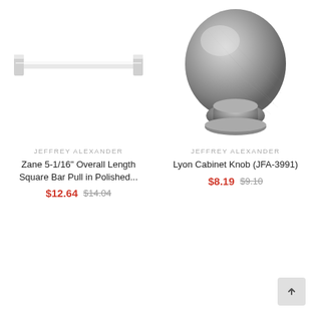[Figure (photo): Chrome square bar pull hardware against white background, horizontal orientation]
[Figure (photo): Brushed nickel oval/egg-shaped cabinet knob (Lyon) against white background]
JEFFREY ALEXANDER
Zane 5-1/16" Overall Length Square Bar Pull in Polished...
$12.64  $14.04
JEFFREY ALEXANDER
Lyon Cabinet Knob (JFA-3991)
$8.19  $9.10